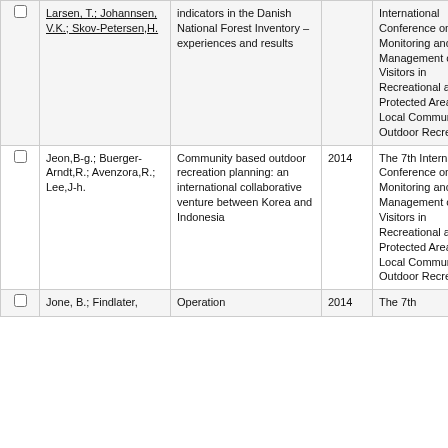|  | Authors | Title | Year | Source |  |
| --- | --- | --- | --- | --- | --- |
| ☐ | Larsen, T.; Johannsen, V.K.; Skov-Petersen,H. | indicators in the Danish National Forest Inventory – experiences and results |  | International Conference on Monitoring and Management of Visitors in Recreational and Protected Areas: Local Community and Outdoor Recreation | P |
| ☐ | Jeon,B-g.; Buerger-Arndt,R.; Avenzora,R.; Lee,J-h. | Community based outdoor recreation planning: an international collaborative venture between Korea and Indonesia | 2014 | The 7th International Conference on Monitoring and Management of Visitors in Recreational and Protected Areas: Local Community and Outdoor Recreation | N |
| ☐ | Jone, B.; Findlater, | Operation | 2014 | The 7th | N |